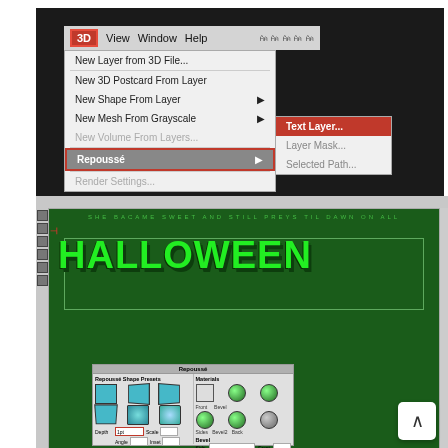[Figure (screenshot): Photoshop 3D menu screenshot showing menu bar with 3D highlighted in red, dropdown menu with options including New Layer from 3D File, New 3D Postcard From Layer, New Shape From Layer, New Mesh From Grayscale, New Volume From Layers, Repoussé (highlighted in gray with red border), Render Settings. Submenu shows Text Layer highlighted in red, Layer Mask, Selected Path.]
[Figure (screenshot): Photoshop canvas screenshot showing 3D green HALLOWEEN text created with Repoussé, with the Repoussé dialog panel open showing shape presets and materials options with depth setting highlighted in red.]